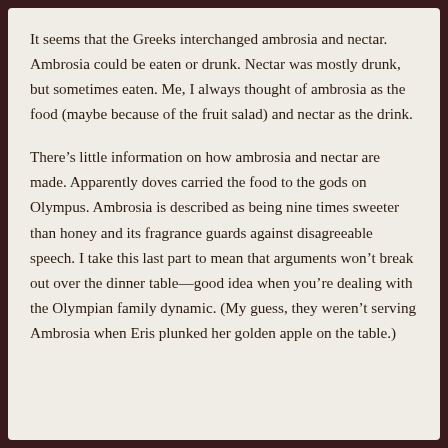It seems that the Greeks interchanged ambrosia and nectar. Ambrosia could be eaten or drunk. Nectar was mostly drunk, but sometimes eaten. Me, I always thought of ambrosia as the food (maybe because of the fruit salad) and nectar as the drink.
There’s little information on how ambrosia and nectar are made. Apparently doves carried the food to the gods on Olympus. Ambrosia is described as being nine times sweeter than honey and its fragrance guards against disagreeable speech. I take this last part to mean that arguments won’t break out over the dinner table—good idea when you’re dealing with the Olympian family dynamic. (My guess, they weren’t serving Ambrosia when Eris plunked her golden apple on the table.)